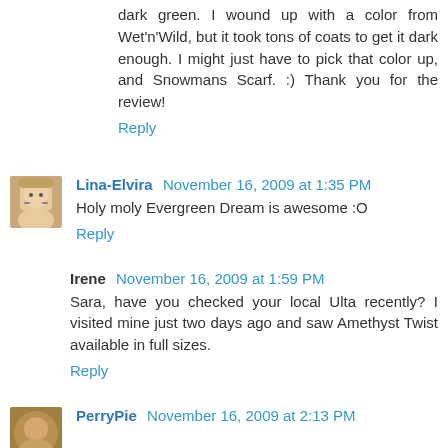dark green. I wound up with a color from Wet'n'Wild, but it took tons of coats to get it dark enough. I might just have to pick that color up, and Snowmans Scarf. :) Thank you for the review!
Reply
Lina-Elvira  November 16, 2009 at 1:35 PM
Holy moly Evergreen Dream is awesome :O
Reply
Irene  November 16, 2009 at 1:59 PM
Sara, have you checked your local Ulta recently? I visited mine just two days ago and saw Amethyst Twist available in full sizes.
Reply
PerryPie  November 16, 2009 at 2:13 PM